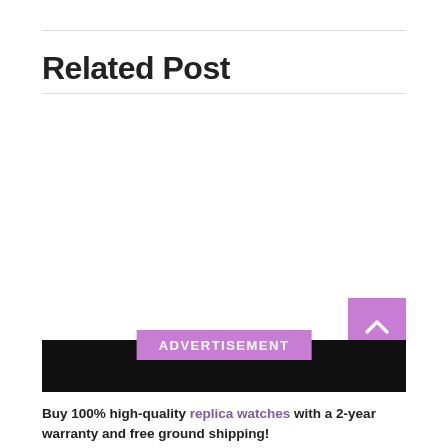Related Post
[Figure (other): Back-to-top button: a purple/violet square with a white upward chevron arrow]
ADVERTISEMENT
Buy 100% high-quality replica watches with a 2-year warranty and free ground shipping!